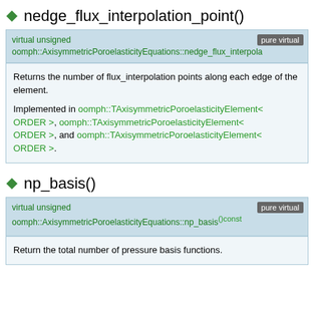nedge_flux_interpolation_point()
virtual unsigned oomph::AxisymmetricPoroelasticityEquations::nedge_flux_interpola [pure virtual]
Returns the number of flux_interpolation points along each edge of the element.

Implemented in oomph::TAxisymmetricPoroelasticityElement< ORDER >, oomph::TAxisymmetricPoroelasticityElement< ORDER >, and oomph::TAxisymmetricPoroelasticityElement< ORDER >.
np_basis()
virtual unsigned oomph::AxisymmetricPoroelasticityEquations::np_basis() const [pure virtual]
Return the total number of pressure basis functions.